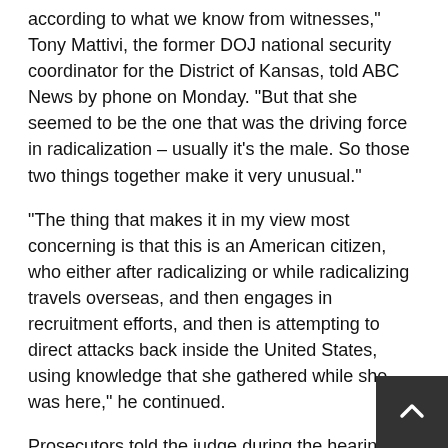...usually it's a couple that radicalized according to what we know from witnesses," Tony Mattivi, the former DOJ national security coordinator for the District of Kansas, told ABC News by phone on Monday. "But that she seemed to be the one that was the driving force in radicalization – usually it's the male. So those two things together make it very unusual."
"The thing that makes it in my view most concerning is that this is an American citizen, who either after radicalizing or while radicalizing travels overseas, and then engages in recruitment efforts, and then is attempting to direct attacks back inside the United States, using knowledge that she gathered while she was here," he continued.
Prosecutors told the judge during the hearing in Virginia Monday that members of Fluke-Ekren's family, including her mother and father, have requested she not contact them.